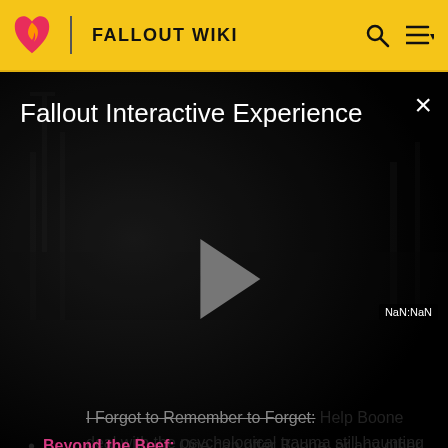FALLOUT WIKI
[Figure (screenshot): Video player overlay showing 'Fallout Interactive Experience' title on a dark apocalyptic background with a play button and NaN:NaN timestamp. A close (×) button is in the top right corner.]
I Forgot to Remember to Forget: Help Boone deal with the psychological trauma still haunting him. The successful completion of this quest upgrades his armor.
Beyond the Beef: One can offer Boone, or any other human companion, as a substitute to Mortimer for the